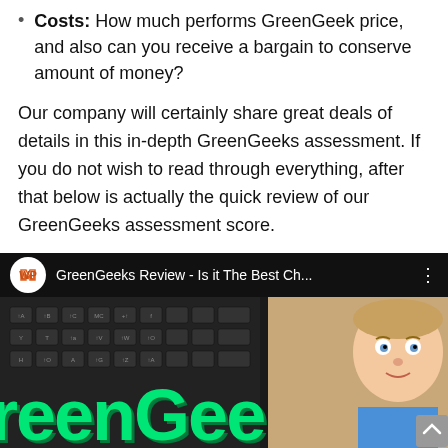Costs: How much performs GreenGeek price, and also can you receive a bargain to conserve amount of money?
Our company will certainly share great deals of details in this in-depth GreenGeeks assessment. If you do not wish to read through everything, after that below is actually the quick review of our GreenGeeks assessment score.
[Figure (screenshot): YouTube video embed showing 'GreenGeeks Review - Is it The Best Ch...' with a thumbnail of a keyboard and animated green 'reenGeeks' text with a cartoon character on the right.]